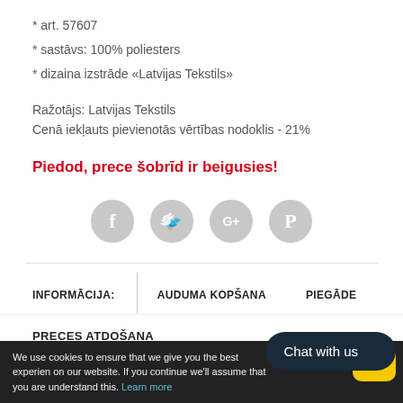* art. 57607
* sastāvs: 100% poliesters
* dizaina izstrāde «Latvijas Tekstils»
Ražotājs: Latvijas Tekstils
Cenā iekļauts pievienotās vērtības nodoklis - 21%
Piedod, prece šobrīd ir beigusies!
[Figure (infographic): Four social media sharing icons (Facebook, Twitter, Google+, Pinterest) as grey circles]
INFORMĀCIJA:
AUDUMA KOPŠANA
PIEGĀDE
PRECES ATDOŠANA
We use cookies to ensure that we give you the best experience on our website. If you continue we'll assume that you are understand this. Learn more
Chat with us